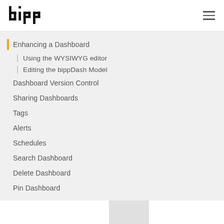[Figure (logo): bipp logo - text 'bipp' in bold black pixelated font]
Enhancing a Dashboard
Using the WYSIWYG editor
Editing the bippDash Model
Dashboard Version Control
Sharing Dashboards
Tags
Alerts
Schedules
Search Dashboard
Delete Dashboard
Pin Dashboard
bipp allows creation and management of multiple dashboards or insight boards that can be used to